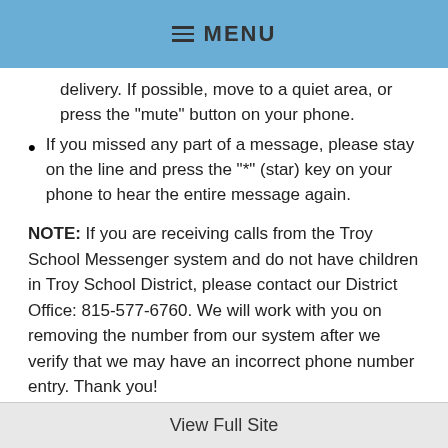MENU
delivery. If possible, move to a quiet area, or press the "mute" button on your phone.
If you missed any part of a message, please stay on the line and press the "*" (star) key on your phone to hear the entire message again.
NOTE: If you are receiving calls from the Troy School Messenger system and do not have children in Troy School District, please contact our District Office: 815-577-6760. We will work with you on removing the number from our system after we verify that we may have an incorrect phone number entry. Thank you!
View Full Site